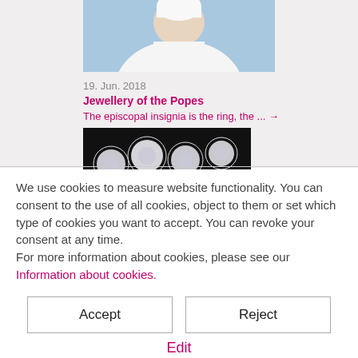[Figure (photo): Top portion of a person wearing white papal vestments and white zucchetto, against a blue sky background]
19. Jun. 2018
Jewellery of the Popes
The episcopal insignia is the ring, the ... →
[Figure (photo): Multiple sparkling cut diamonds arranged on a dark black background]
We use cookies to measure website functionality. You can consent to the use of all cookies, object to them or set which type of cookies you want to accept. You can revoke your consent at any time.
For more information about cookies, please see our Information about cookies.
Accept
Reject
Edit